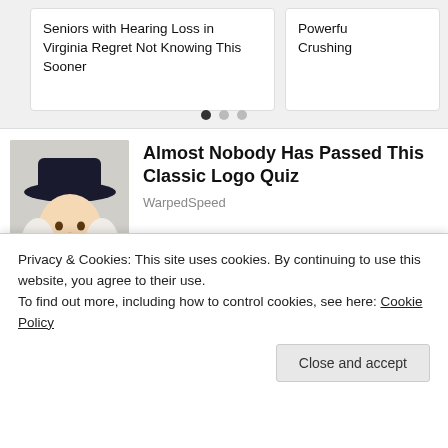Seniors with Hearing Loss in Virginia Regret Not Knowing This Sooner
Powerfu Crushing
[Figure (other): Three pagination dots, first one filled/dark, two light gray]
[Figure (illustration): Illustration of a man in colonial dress with white wig and wide-brim hat, resembling Quaker Oats mascot]
Almost Nobody Has Passed This Classic Logo Quiz
WarpedSpeed
[Figure (photo): Photo of Obama with sunglasses and a woman outdoors with greenery in background]
[Pics] At 60, Obama Moves To This Modest House, Take A
Privacy & Cookies: This site uses cookies. By continuing to use this website, you agree to their use.
To find out more, including how to control cookies, see here: Cookie Policy
Close and accept